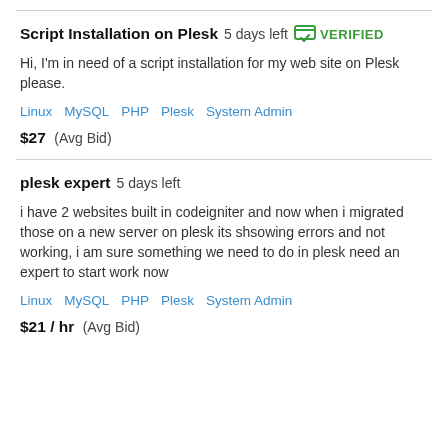Script Installation on Plesk  5 days left  VERIFIED
Hi, I'm in need of a script installation for my web site on Plesk please.
Linux   MySQL   PHP   Plesk   System Admin
$27  (Avg Bid)
plesk expert  5 days left
i have 2 websites built in codeigniter and now when i migrated those on a new server on plesk its shsowing errors and not working, i am sure something we need to do in plesk need an expert to start work now
Linux   MySQL   PHP   Plesk   System Admin
$21 / hr  (Avg Bid)